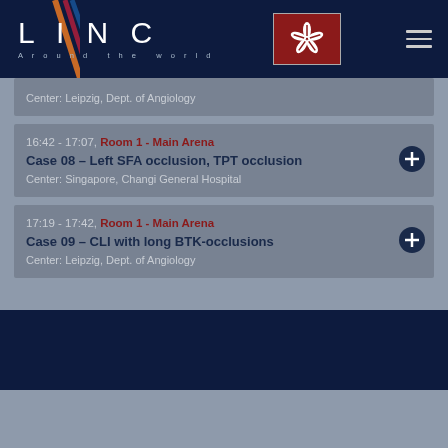LINC Around the world
Center: Leipzig, Dept. of Angiology
16:42 - 17:07, Room 1 - Main Arena
Case 08 – Left SFA occlusion, TPT occlusion
Center: Singapore, Changi General Hospital
17:19 - 17:42, Room 1 - Main Arena
Case 09 – CLI with long BTK-occlusions
Center: Leipzig, Dept. of Angiology